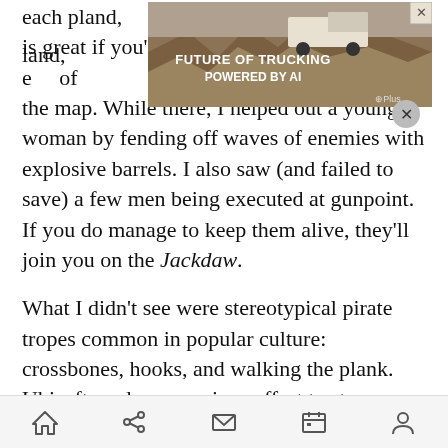each piece of land, which is great if you're coming from the opposite end of the map. While there, I helped out a young woman by fending off waves of enemies with explosive barrels. I also saw (and failed to save) a few men being executed at gunpoint. If you do manage to keep them alive, they'll join you on the Jackdaw.
[Figure (other): Advertisement banner for 'Future of Trucking Powered by AI' with a truck image and close button]
What I didn't see were stereotypical pirate tropes common in popular culture: crossbones, hooks, and walking the plank. Ubisoft made a conscious effort to stay away from the romanticized view of pirates in favor of creating a "grounded sense of realism, of brutality." They looked to films and TV shows such as Master and Commander, The Mission,
Home | Share | Mail | Calendar | Profile